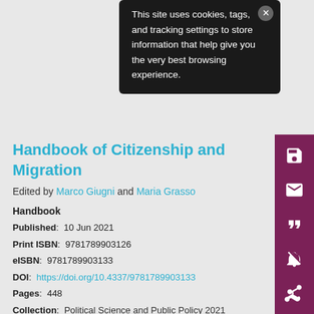This site uses cookies, tags, and tracking settings to store information that help give you the very best browsing experience.
Handbook of Citizenship and Migration
Edited by Marco Giugni and Maria Grasso
Handbook
Published: 10 Jun 2021
Print ISBN: 9781789903126
eISBN: 9781789903133
DOI: https://doi.org/10.4337/9781789903133
Pages: 448
Collection: Political Science and Public Policy 2021